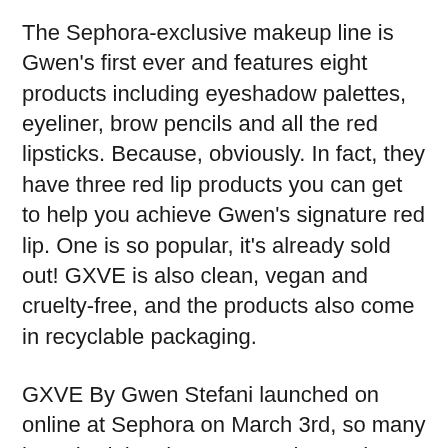The Sephora-exclusive makeup line is Gwen's first ever and features eight products including eyeshadow palettes, eyeliner, brow pencils and all the red lipsticks. Because, obviously. In fact, they have three red lip products you can get to help you achieve Gwen's signature red lip. One is so popular, it's already sold out! GXVE is also clean, vegan and cruelty-free, and the products also come in recyclable packaging.
GXVE By Gwen Stefani launched on online at Sephora on March 3rd, so many have had the chance to try the products out already. Since shopper reviews can help you decide whether a product is worth trying or not, we went through the reviews to see what people actually thought about GXVE. So here's...